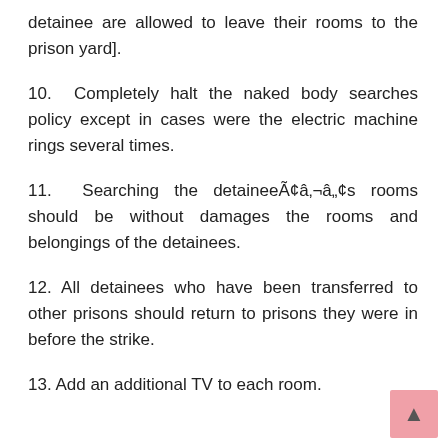detainee are allowed to leave their rooms to the prison yard].
10.  Completely halt the naked body searches policy except in cases were the electric machine rings several times.
11.  Searching the detaineeÃ¢Â¬Â¢s rooms should be without damages the rooms and belongings of the detainees.
12. All detainees who have been transferred to other prisons should return to prisons they were in before the strike.
13. Add an additional TV to each room.